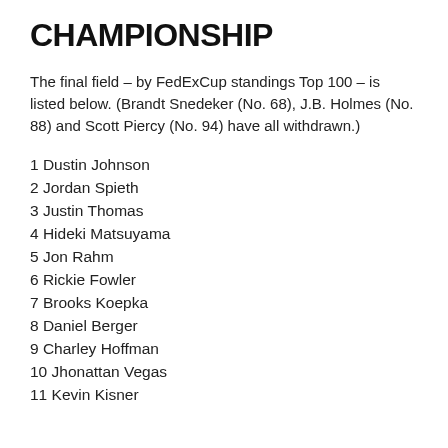CHAMPIONSHIP
The final field – by FedExCup standings Top 100 – is listed below. (Brandt Snedeker (No. 68), J.B. Holmes (No. 88) and Scott Piercy (No. 94) have all withdrawn.)
1 Dustin Johnson
2 Jordan Spieth
3 Justin Thomas
4 Hideki Matsuyama
5 Jon Rahm
6 Rickie Fowler
7 Brooks Koepka
8 Daniel Berger
9 Charley Hoffman
10 Jhonattan Vegas
11 Kevin Kisner